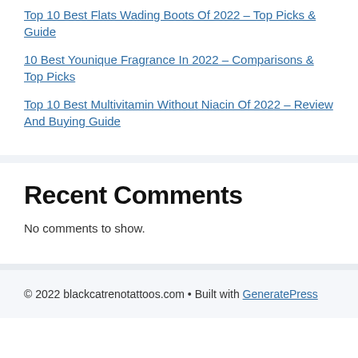Top 10 Best Flats Wading Boots Of 2022 – Top Picks & Guide
10 Best Younique Fragrance In 2022 – Comparisons & Top Picks
Top 10 Best Multivitamin Without Niacin Of 2022 – Review And Buying Guide
Recent Comments
No comments to show.
© 2022 blackcatrenotattoos.com • Built with GeneratePress